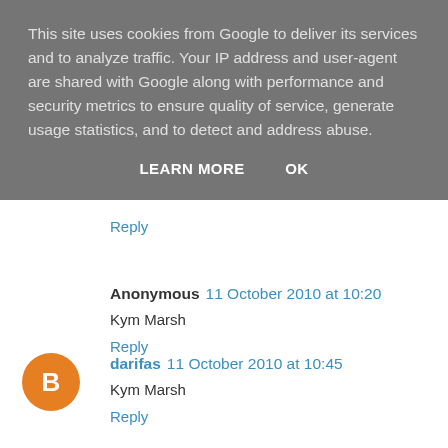This site uses cookies from Google to deliver its services and to analyze traffic. Your IP address and user-agent are shared with Google along with performance and security metrics to ensure quality of service, generate usage statistics, and to detect and address abuse.
LEARN MORE   OK
Reply
Anonymous  11 October 2010 at 10:20
Kym Marsh
Reply
[Figure (illustration): Orange circular avatar with letter B]
darifas  11 October 2010 at 10:45
Kym Marsh
Reply